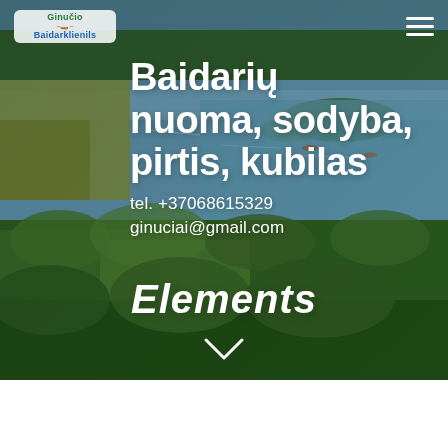[Figure (photo): Aerial view of a lake and forest landscape in Lithuania, with blue water, reed beds, small islands, and dense green forest in the foreground. Kayaks or small boats visible on the water.]
Ginučio Baidarklienila
Baidarių nuoma, sodyba, pirtis, kubilas
tel. +37068615329
ginuciai@gmail.com
Elements